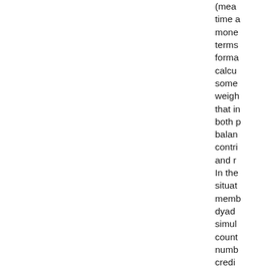(mea time a mone terms forma calcu some weigh that i both p balan contri and r In the situat memb dyad simul coun numb credi debits are k time, appro